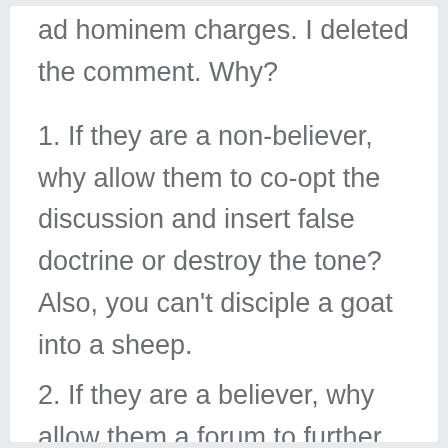ad hominem charges. I deleted the comment. Why?
1. If they are a non-believer, why allow them to co-opt the discussion and insert false doctrine or destroy the tone? Also, you can't disciple a goat into a sheep.
2. If they are a believer, why allow them a forum to further dig themselves into a sin-hole?